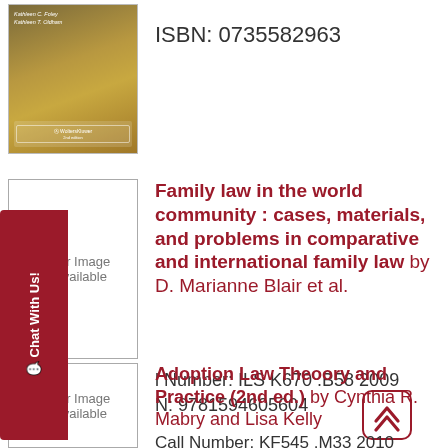[Figure (illustration): Book cover with gold/brown gradient tones, text by Kathleen C. Foley and Kathleen T. Oldham, with a WoltersKluwer logo at bottom]
ISBN: 0735582963
[Figure (illustration): Cover Image Unavailable placeholder box]
Family law in the world community : cases, materials, and problems in comparative and international family law by D. Marianne Blair et al.
Call Number: ILS K670 .B58 2009
ISBN: 9781594605604
[Figure (illustration): Cover Image Unavailable placeholder box]
Adoption Law Theoory and Practice (2nd ed.) by Cynthia R. Mabry and Lisa Kelly
Call Number: KF545 .M33 2010
ISBN: 9780837738444